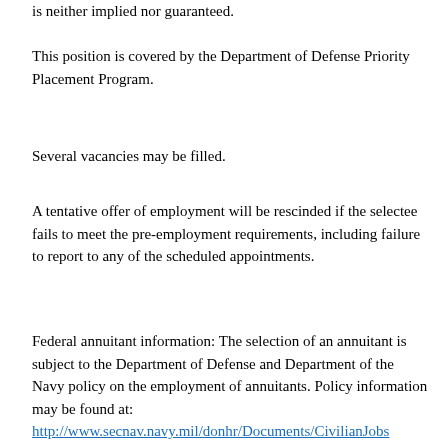is neither implied nor guaranteed.
This position is covered by the Department of Defense Priority Placement Program.
Several vacancies may be filled.
A tentative offer of employment will be rescinded if the selectee fails to meet the pre-employment requirements, including failure to report to any of the scheduled appointments.
Federal annuitant information: The selection of an annuitant is subject to the Department of Defense and Department of the Navy policy on the employment of annuitants. Policy information may be found at: http://www.secnav.navy.mil/donhr/Documents/CivilianJobs